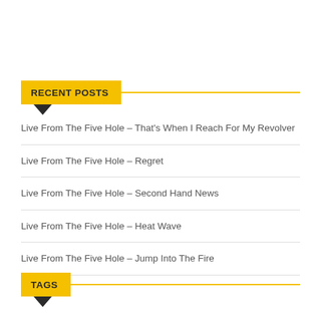RECENT POSTS
Live From The Five Hole – That's When I Reach For My Revolver
Live From The Five Hole – Regret
Live From The Five Hole – Second Hand News
Live From The Five Hole – Heat Wave
Live From The Five Hole – Jump Into The Fire
TAGS